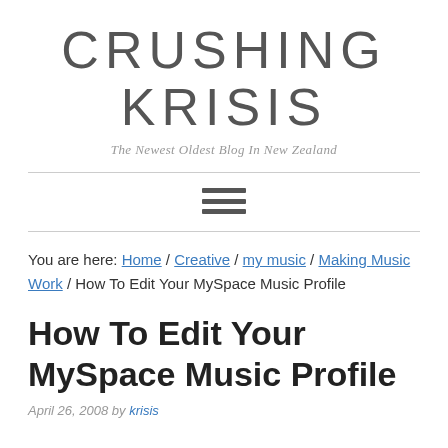CRUSHING KRISIS
The Newest Oldest Blog In New Zealand
[Figure (other): Hamburger menu icon (three horizontal lines)]
You are here: Home / Creative / my music / Making Music Work / How To Edit Your MySpace Music Profile
How To Edit Your MySpace Music Profile
April 26, 2008 by krisis